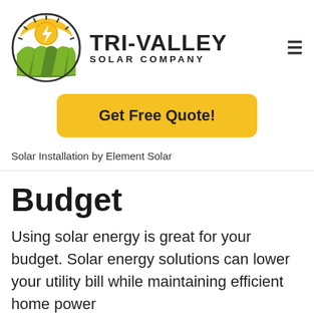[Figure (logo): Tri-Valley Solar Company logo with sun, lightning bolt, and green hills, alongside bold text TRI-VALLEY SOLAR COMPANY]
[Figure (other): Get Free Quote! yellow button]
Solar Installation by Element Solar
Budget
Using solar energy is great for your budget. Solar energy solutions can lower your utility bill while maintaining efficient home power